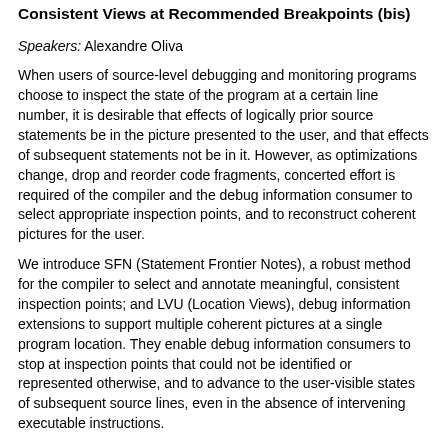Consistent Views at Recommended Breakpoints (bis)
Speakers: Alexandre Oliva
When users of source-level debugging and monitoring programs choose to inspect the state of the program at a certain line number, it is desirable that effects of logically prior source statements be in the picture presented to the user, and that effects of subsequent statements not be in it. However, as optimizations change, drop and reorder code fragments, concerted effort is required of the compiler and the debug information consumer to select appropriate inspection points, and to reconstruct coherent pictures for the user.
We introduce SFN (Statement Frontier Notes), a robust method for the compiler to select and annotate meaningful, consistent inspection points; and LVU (Location Views), debug information extensions to support multiple coherent pictures at a single program location. They enable debug information consumers to stop at inspection points that could not be identified or represented otherwise, and to advance to the user-visible states of subsequent source lines, even in the absence of intervening executable instructions.